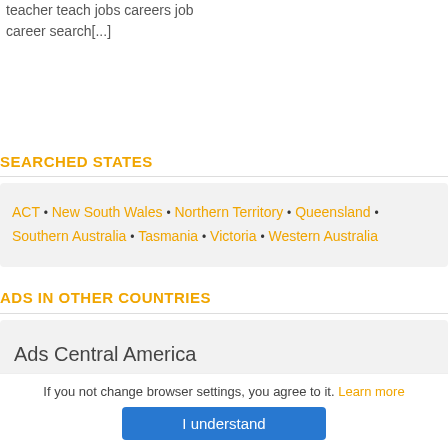teacher teach jobs careers job career search[...]
SEARCHED STATES
ACT • New South Wales • Northern Territory • Queensland • Southern Australia • Tasmania • Victoria • Western Australia
ADS IN OTHER COUNTRIES
Ads Central America
If you not change browser settings, you agree to it. Learn more
I understand